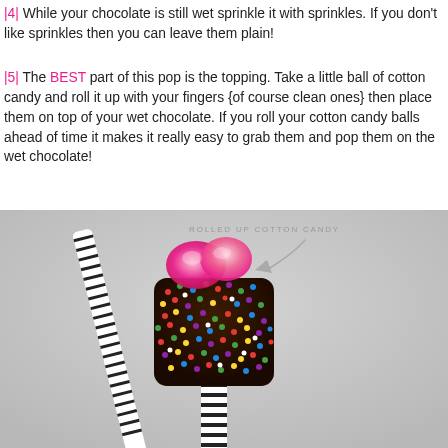|4| While your chocolate is still wet sprinkle it with sprinkles. If you don't like sprinkles then you can leave them plain!
|5| The BEST part of this pop is the topping. Take a little ball of cotton candy and roll it up with your fingers {of course clean ones} then place them on top of your wet chocolate. If you roll your cotton candy balls ahead of time it makes it really easy to grab them and pop them on the wet chocolate!
[Figure (photo): A marshmallow pop on a black-and-white striped stick, coated in dark chocolate and covered with colorful sprinkles, topped with rolled up pink cotton candy balls. An annotation arrow points to the cotton candy with the label 'ROLLED UP COTTON CANDY'.]